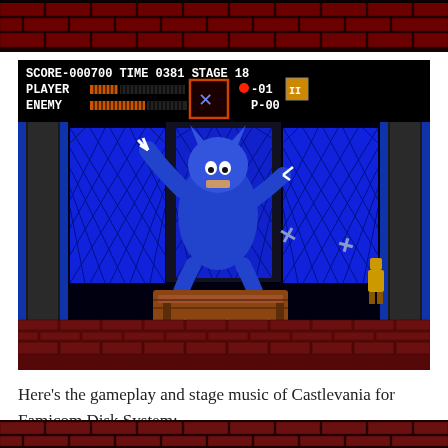[Figure (screenshot): Partial top strip of a Castlevania NES game screenshot, showing the bottom portion of a castle background with red brick pattern.]
[Figure (screenshot): Castlevania NES/Famicom Disk System gameplay screenshot. HUD shows SCORE-000700 TIME 0381 STAGE 18, PLAYER health bar, ENEMY health bar, weapon cross (X) icon in orange box, heart count -01, P-00, and a stage icon. Game area shows a large blue werewolf-like boss creature jumping in front of blue diamond-pattern windows, with two shuriken/cross weapons in the air, a wooden coffin/chest in the center, and a small armored character on the right side. Red brick floor at bottom.]
Here’s the gameplay and stage music of Castlevania for Famicom Disk System:
[Figure (screenshot): Bottom strip of another Castlevania NES screenshot, partially visible.]